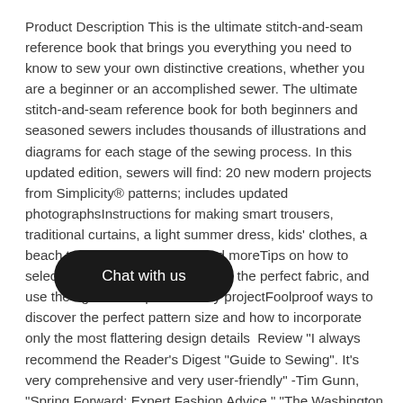Product Description This is the ultimate stitch-and-seam reference book that brings you everything you need to know to sew your own distinctive creations, whether you are a beginner or an accomplished sewer. The ultimate stitch-and-seam reference book for both beginners and seasoned sewers includes thousands of illustrations and diagrams for each stage of the sewing process. In this updated edition, sewers will find: 20 new modern projects from Simplicity® patterns; includes updated photographsInstructions for making smart trousers, traditional curtains, a light summer dress, kids' clothes, a beach towel, patchwork bag, and moreTips on how to select the right equipment, choose the perfect fabric, and use the right technique for every projectFoolproof ways to discover the perfect pattern size and how to incorporate only the most flattering design details  Review "I always recommend the Reader's Digest "Guide to Sewing". It's very comprehensive and very user-friendly" -Tim Gunn, "Spring Forward: Expert Fashion Advice," "The Washington Post" I always recommend the Reader's Digest About the Author Readers Digest simplifies and enriches consumers' lives by discovering and expertly selecting the most interesting ideas, stories, experiences and products in health, home, family, food, finance and humor. Our portfolio of products includes our flagship